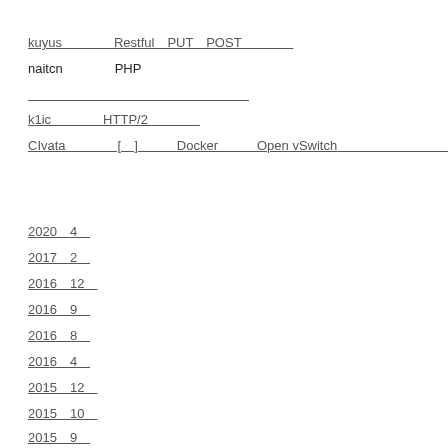kuyus　　　　Restful　PUT　POST
naitcn　　　　PHP
k1ic　　　　HTTP/2
CIvata　　　　[　]　　　Docker　　　Open vSwitch
2020　4
2017　2
2016　12
2016　9
2016　8
2016　4
2015　12
2015　10
2015　9